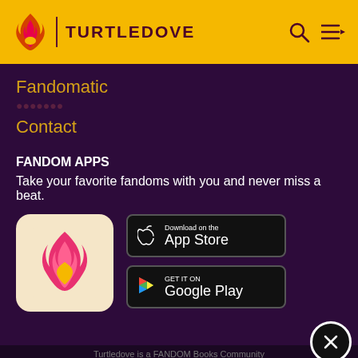TURTLEDOVE
Fandomatic
Contact
FANDOM APPS
Take your favorite fandoms with you and never miss a beat.
[Figure (logo): Fandom app icon: pink flame with yellow heart on cream background]
[Figure (screenshot): Download on the App Store button (black with Apple logo)]
[Figure (screenshot): Get it on Google Play button (black with Google Play logo)]
Turtledove is a FANDOM Books Community
[Figure (logo): Best Buy advertisement banner (blue gradient background with BEST BUY logo in white and yellow)]